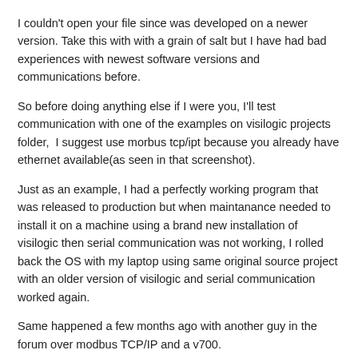I couldn't open your file since was developed on a newer version. Take this with with a grain of salt but I have had bad experiences with newest software versions and communications before.
So before doing anything else if I were you, I'll test communication with one of the examples on visilogic projects folder,  I suggest use morbus tcp/ipt because you already have ethernet available(as seen in that screenshot).
Just as an example, I had a perfectly working program that was released to production but when maintanance needed to install it on a machine using a brand new installation of visilogic then serial communication was not working, I rolled back the OS with my laptop using same original source project with an older version of visilogic and serial communication worked again.
Same happened a few months ago with another guy in the forum over modbus TCP/IP and a v700.
[Figure (other): A card/post preview with a circular avatar placeholder and two horizontal grey bars representing redacted/blurred text content.]